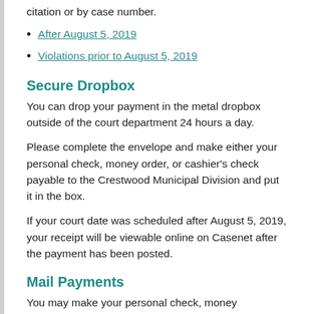citation or by case number.
After August 5, 2019
Violations prior to August 5, 2019
Secure Dropbox
You can drop your payment in the metal dropbox outside of the court department 24 hours a day.
Please complete the envelope and make either your personal check, money order, or cashier's check payable to the Crestwood Municipal Division and put it in the box.
If your court date was scheduled after August 5, 2019, your receipt will be viewable online on Casenet after the payment has been posted.
Mail Payments
You may make your personal check, money